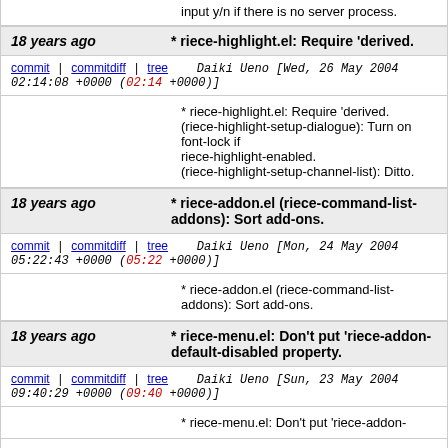input y/n if there is no server process.
18 years ago * riece-highlight.el: Require 'derived.
commit | commitdiff | tree   Daiki Ueno [Wed, 26 May 2004 02:14:08 +0000 (02:14 +0000)]
* riece-highlight.el: Require 'derived. (riece-highlight-setup-dialogue): Turn on font-lock if riece-highlight-enabled. (riece-highlight-setup-channel-list): Ditto.
18 years ago * riece-addon.el (riece-command-list-addons): Sort add-ons.
commit | commitdiff | tree   Daiki Ueno [Mon, 24 May 2004 05:22:43 +0000 (05:22 +0000)]
* riece-addon.el (riece-command-list-addons): Sort add-ons.
18 years ago * riece-menu.el: Don't put 'riece-addon-default-disabled property.
commit | commitdiff | tree   Daiki Ueno [Sun, 23 May 2004 09:40:29 +0000 (09:40 +0000)]
* riece-menu.el: Don't put 'riece-addon-